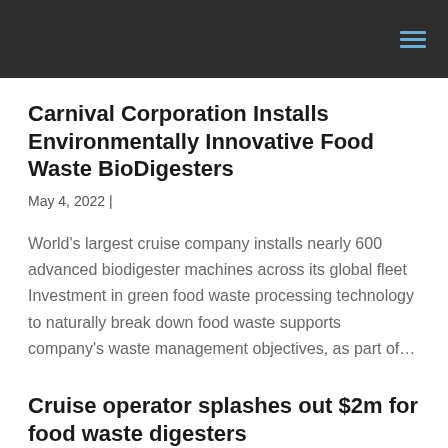Carnival Corporation Installs Environmentally Innovative Food Waste BioDigesters
May 4, 2022 |
World's largest cruise company installs nearly 600 advanced biodigester machines across its global fleet Investment in green food waste processing technology to naturally break down food waste supports company's waste management objectives, as part of…
Cruise operator splashes out $2m for food waste digesters